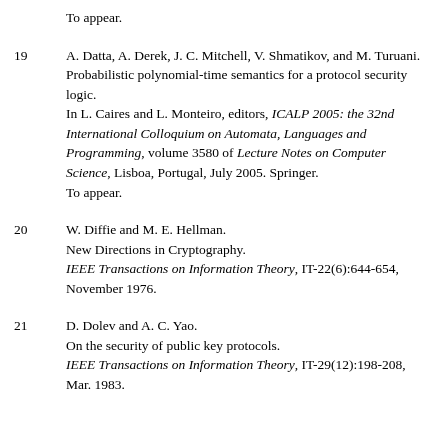To appear.
19  A. Datta, A. Derek, J. C. Mitchell, V. Shmatikov, and M. Turuani. Probabilistic polynomial-time semantics for a protocol security logic. In L. Caires and L. Monteiro, editors, ICALP 2005: the 32nd International Colloquium on Automata, Languages and Programming, volume 3580 of Lecture Notes on Computer Science, Lisboa, Portugal, July 2005. Springer. To appear.
20  W. Diffie and M. E. Hellman. New Directions in Cryptography. IEEE Transactions on Information Theory, IT-22(6):644-654, November 1976.
21  D. Dolev and A. C. Yao. On the security of public key protocols. IEEE Transactions on Information Theory, IT-29(12):198-208, Mar. 1983.